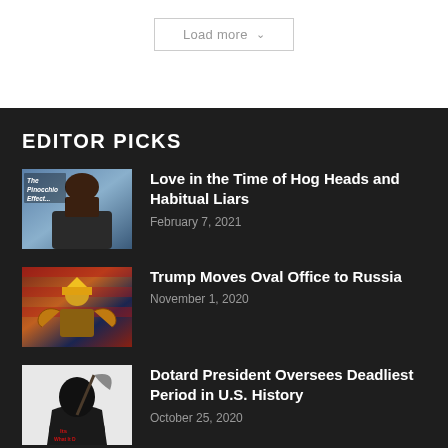Load more ▾
EDITOR PICKS
[Figure (photo): Photo of a woman speaking, with overlay text 'The Pinocchio Effect...']
Love in the Time of Hog Heads and Habitual Liars
February 7, 2021
[Figure (photo): Stylized illustration of Trump in golden costume with American flag imagery]
Trump Moves Oval Office to Russia
November 1, 2020
[Figure (photo): Black and white image of a grim reaper figure with red text]
Dotard President Oversees Deadliest Period in U.S. History
October 25, 2020